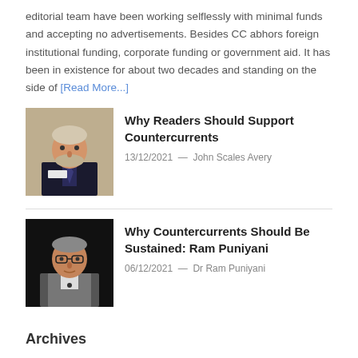editorial team have been working selflessly with minimal funds and accepting no advertisements. Besides CC abhors foreign institutional funding, corporate funding or government aid. It has been in existence for about two decades and standing on the side of [Read More...]
[Figure (photo): Portrait photo of an older man in a suit and tie at a speaking event]
Why Readers Should Support Countercurrents
13/12/2021  —  John Scales Avery
[Figure (photo): Portrait photo of an older man with glasses against a dark background]
Why Countercurrents Should Be Sustained: Ram Puniyani
06/12/2021  —  Dr Ram Puniyani
Archives